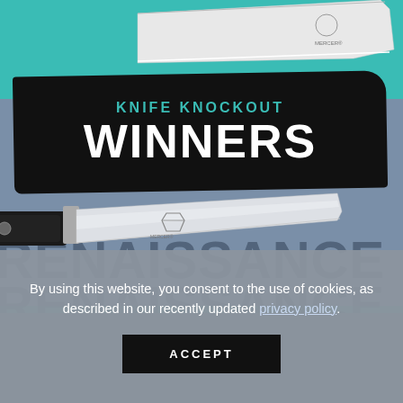[Figure (photo): Product advertisement image for Mercer Culinary knives 'Knife Knockout Winners - Renaissance' showing a cleaver-style knife at top on teal background, a chef's knife in the middle on blue-grey background, large 'RENAISSANCE' text watermark, and a black paintbrush-style banner reading 'KNIFE KNOCKOUT WINNERS'.]
By using this website, you consent to the use of cookies, as described in our recently updated privacy policy.
ACCEPT